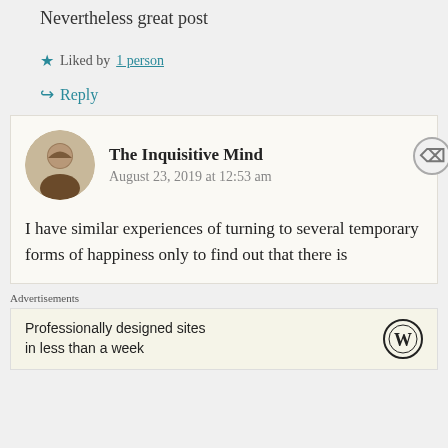Nevertheless great post
★ Liked by 1 person
↪ Reply
The Inquisitive Mind
August 23, 2019 at 12:53 am
I have similar experiences of turning to several temporary forms of happiness only to find out that there is
Advertisements
Professionally designed sites in less than a week